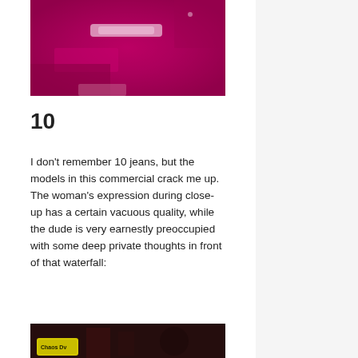[Figure (photo): Blurry magenta/pink colored image, appears to be a close-up photo with blurred text overlay in center]
10
I don’t remember 10 jeans, but the models in this commercial crack me up. The woman’s expression during close-up has a certain vacuous quality, while the dude is very earnestly preoccupied with some deep private thoughts in front of that waterfall:
[Figure (screenshot): Partial screenshot showing bottom edge of a video thumbnail with dark background and yellow label/logo visible at lower left]